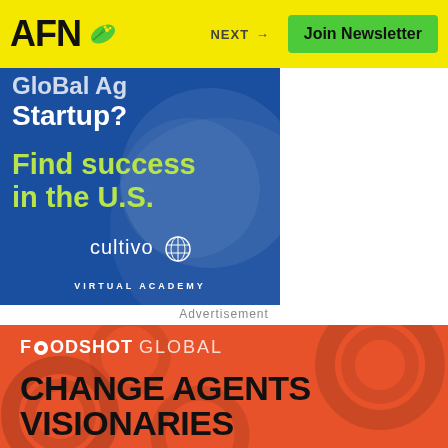AFN - NEXT → Join Newsletter
[Figure (infographic): Cultivo Virtual Academy advertisement on blue background. Text reads (partially cropped): 'Startup? Find success in the U.S.' with cultivo Virtual Academy logo]
Advertisement
[Figure (infographic): FoodShot Global banner on orange/red background with swirl pattern. Shows logo 'FOODSHOT GLOBAL' and text 'CHANGE AGENTS VISIONARIES']
CHANGE AGENTS VISIONARIES